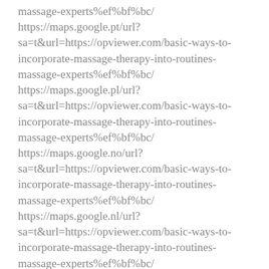massage-experts%ef%bf%bc/ https://maps.google.pt/url?sa=t&url=https://opviewer.com/basic-ways-to-incorporate-massage-therapy-into-routines-massage-experts%ef%bf%bc/ https://maps.google.pl/url?sa=t&url=https://opviewer.com/basic-ways-to-incorporate-massage-therapy-into-routines-massage-experts%ef%bf%bc/ https://maps.google.no/url?sa=t&url=https://opviewer.com/basic-ways-to-incorporate-massage-therapy-into-routines-massage-experts%ef%bf%bc/ https://maps.google.nl/url?sa=t&url=https://opviewer.com/basic-ways-to-incorporate-massage-therapy-into-routines-massage-experts%ef%bf%bc/ https://maps.google.mw/url?sa=t&url=https://opviewer.com/basic-ways-to-incorporate-massage-therapy-into-routines-